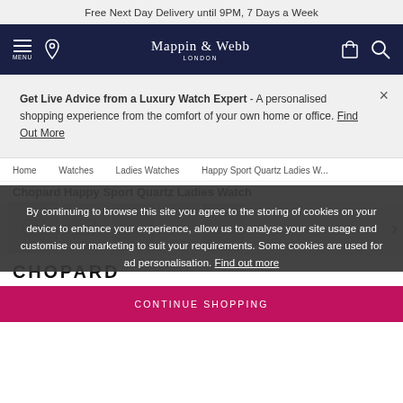Free Next Day Delivery until 9PM, 7 Days a Week
[Figure (logo): Mappin & Webb London logo with hamburger menu, location pin, bag and search icons on dark navy navigation bar]
Get Live Advice from a Luxury Watch Expert - A personalised shopping experience from the comfort of your own home or office. Find Out More
Home / Watches / Ladies Watches / Happy Sport Quartz Ladies W...
Chopard Happy Sport Quartz Ladies Watch
[Figure (photo): Product image thumbnails of Chopard watch with navigation arrow]
CHOPARD
By continuing to browse this site you agree to the storing of cookies on your device to enhance your experience, allow us to analyse your site usage and customise our marketing to suit your requirements. Some cookies are used for ad personalisation. Find out more
CONTINUE SHOPPING